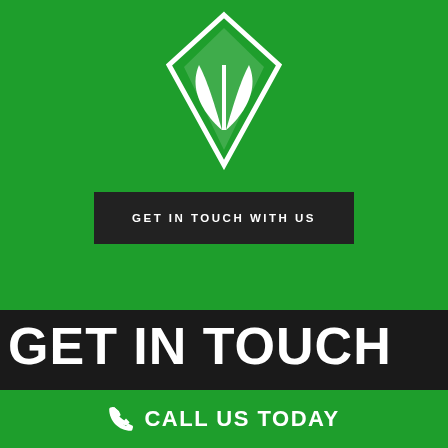[Figure (logo): White diamond-shaped logo with leaf design on green background]
GET IN TOUCH WITH US
GET IN TOUCH
CALL US TODAY